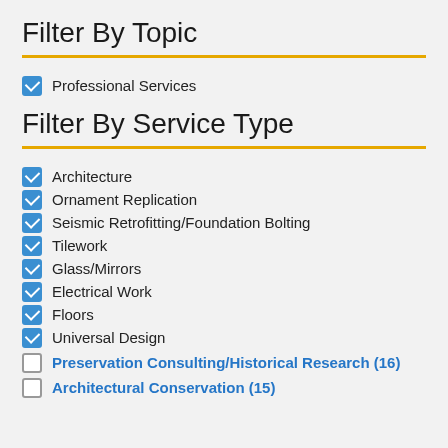Filter By Topic
Professional Services (checked)
Filter By Service Type
Architecture (checked)
Ornament Replication (checked)
Seismic Retrofitting/Foundation Bolting (checked)
Tilework (checked)
Glass/Mirrors (checked)
Electrical Work (checked)
Floors (checked)
Universal Design (checked)
Preservation Consulting/Historical Research (16) (unchecked, link)
Architectural Conservation (15) (unchecked, link)